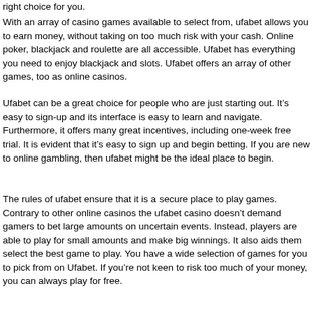right choice for you.
With an array of casino games available to select from, ufabet allows you to earn money, without taking on too much risk with your cash. Online poker, blackjack and roulette are all accessible. Ufabet has everything you need to enjoy blackjack and slots. Ufabet offers an array of other games, too as online casinos.
Ufabet can be a great choice for people who are just starting out. It’s easy to sign-up and its interface is easy to learn and navigate. Furthermore, it offers many great incentives, including one-week free trial. It is evident that it’s easy to sign up and begin betting. If you are new to online gambling, then ufabet might be the ideal place to begin.
The rules of ufabet ensure that it is a secure place to play games. Contrary to other online casinos the ufabet casino doesn’t demand gamers to bet large amounts on uncertain events. Instead, players are able to play for small amounts and make big winnings. It also aids them select the best game to play. You have a wide selection of games for you to pick from on Ufabet. If you’re not keen to risk too much of your money, you can always play for free.